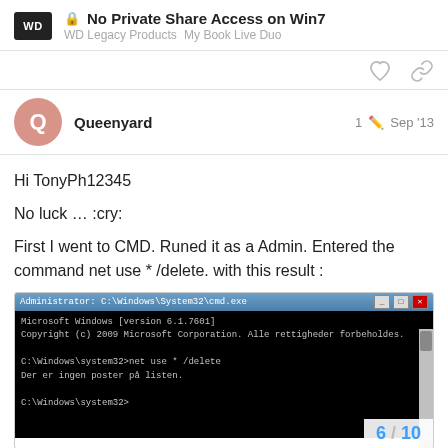No Private Share Access on Win7 | WD Legacy Products  My Book Live Duo
Queenyard   1  Sep '13
Hi TonyPh12345
No luck … :cry:
First I went to CMD. Runed it as a Admin. Entered the command net use * /delete. with this result :
[Figure (screenshot): Windows CMD window showing: Microsoft Windows [version 6.1.7601] Copyright (c) 2009 Microsoft Corporation. Alle rettigheder forbeholdes. C:\Windows\system32>net use * /delete Der er ingen poster på listen. C:\Windows\system32>]
6 / 10